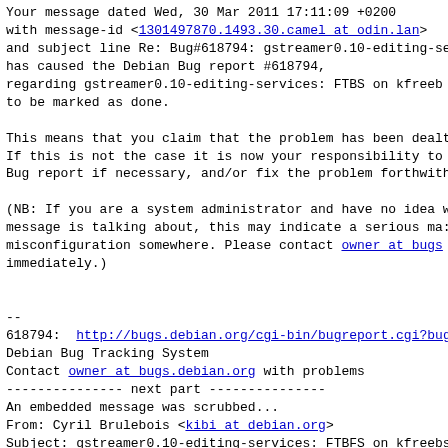Your message dated Wed, 30 Mar 2011 17:11:09 +0200
with message-id <1301497870.1493.30.camel at odin.lan>
and subject line Re: Bug#618794: gstreamer0.10-editing-se
has caused the Debian Bug report #618794,
regarding gstreamer0.10-editing-services: FTBS on kfreeb
to be marked as done.
This means that you claim that the problem has been dealt
If this is not the case it is now your responsibility to
Bug report if necessary, and/or fix the problem forthwith
(NB: If you are a system administrator and have no idea w
message is talking about, this may indicate a serious ma:
misconfiguration somewhere. Please contact owner at bugs
immediately.)
--
618794:  http://bugs.debian.org/cgi-bin/bugreport.cgi?bug=
Debian Bug Tracking System
Contact owner at bugs.debian.org with problems
--------------- next part ---------------
An embedded message was scrubbed...
From: Cyril Brulebois <kibi at debian.org>
Subject: gstreamer0.10-editing-services: FTBFS on kfreebs
 /usr/share/gir-1.0/Gst-0.10.gir: Incompatible version 1
Date: Fri, 18 Mar 2011 15:44:14 +0100
Size: 2202
URL: <http://lists.alioth.debian.org/pipermail/pkg-gstre
--------------- next part ---------------
An embedded message was scrubbed...